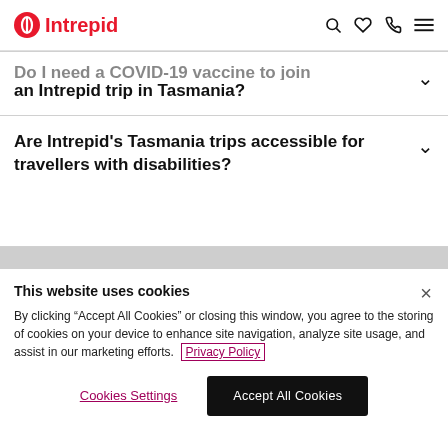Intrepid
Do I need a COVID-19 vaccine to join an Intrepid trip in Tasmania?
Are Intrepid's Tasmania trips accessible for travellers with disabilities?
This website uses cookies
By clicking "Accept All Cookies" or closing this window, you agree to the storing of cookies on your device to enhance site navigation, analyze site usage, and assist in our marketing efforts.  Privacy Policy
Cookies Settings
Accept All Cookies